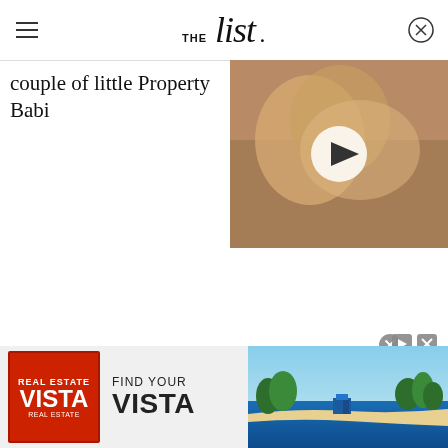THE List
couple of little Property Babi
[Figure (photo): Video thumbnail showing a blonde woman, with a play button overlay]
[Figure (photo): Vista Real Estate advertisement banner showing logo, FIND YOUR VISTA text, and aerial beach/tropical scene]